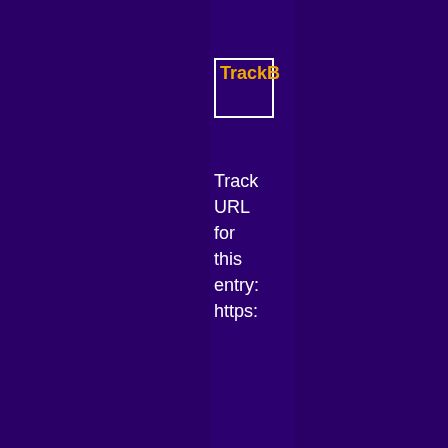TrackB
Track URL for this entry: https:
Listed below are links to weblo that refere my mome of Zen: